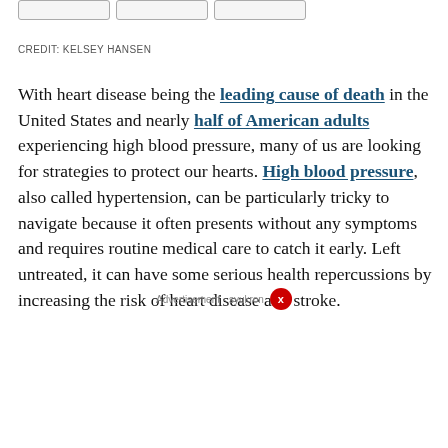[Figure (other): Three rounded rectangle button shapes at top of page]
CREDIT: KELSEY HANSEN
With heart disease being the leading cause of death in the United States and nearly half of American adults experiencing high blood pressure, many of us are looking for strategies to protect our hearts. High blood pressure, also called hypertension, can be particularly tricky to navigate because it often presents without any symptoms and requires routine medical care to catch it early. Left untreated, it can have some serious health repercussions by increasing the risk of heart disease and stroke.